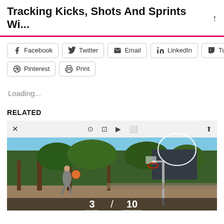Tracking Kicks, Shots And Sprints Wi...
Facebook
Twitter
Email
LinkedIn
Tumblr
Pinterest
Print
Loading...
RELATED
[Figure (photo): Screenshot of a basketball tracking app showing a person shooting a basketball outdoors near a hoop, with trees in background. A video player toolbar is at the top. Score overlay at the bottom shows '3 MAKES / 10 ATTEMPTS'. A white circle overlay near the basketball hoop is visible in the upper right.]